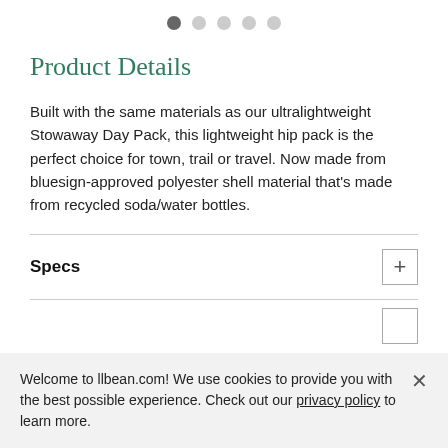[Figure (other): Carousel page indicator dots: first dot active (dark), four dots inactive (light gray)]
Product Details
Built with the same materials as our ultralightweight Stowaway Day Pack, this lightweight hip pack is the perfect choice for town, trail or travel. Now made from bluesign-approved polyester shell material that's made from recycled soda/water bottles.
Specs
Welcome to llbean.com! We use cookies to provide you with the best possible experience. Check out our privacy policy to learn more.